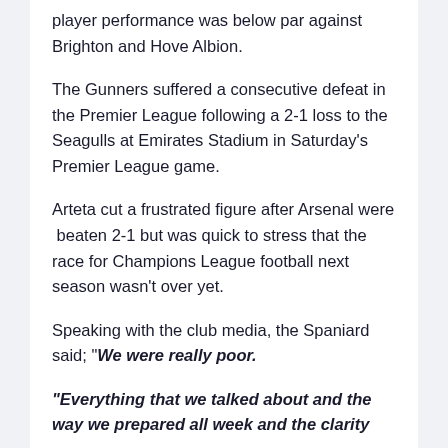player performance was below par against Brighton and Hove Albion.
The Gunners suffered a consecutive defeat in the Premier League following a 2-1 loss to the Seagulls at Emirates Stadium in Saturday's Premier League game.
Arteta cut a frustrated figure after Arsenal were  beaten 2-1 but was quick to stress that the race for Champions League football next season wasn't over yet.
Speaking with the club media, the Spaniard said; "We were really poor.
"Everything that we talked about and the way we prepared all week and the clarity of..."